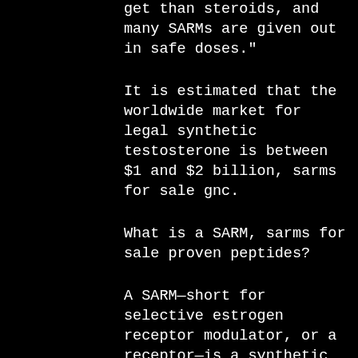get than steroids, and many SARMs are given out in safe doses."
It is estimated that the worldwide market for legal synthetic testosterone is between $1 and $2 billion, sarms for sale gnc.
What is a SARM, sarms for sale proven peptides?
A SARM—short for selective estrogen receptor modulator, or a receptor—is a synthetic variant of a hormone. They typically are prescribed to women as the first-line treatment in their management of male hypogonadism and as a part of a family of drugs—called aromatase inhibitors—they have been used to treat female fertility issues throughout the history of medicine. They are synthetic versions of hormones that in humans are produced by glands in the ovaries that belong to the Testosterone